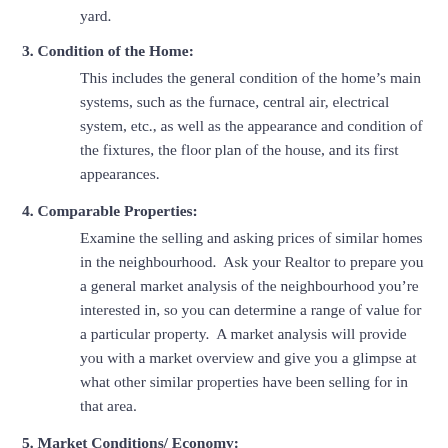yard.
3. Condition of the Home:
This includes the general condition of the home’s main systems, such as the furnace, central air, electrical system, etc., as well as the appearance and condition of the fixtures, the floor plan of the house, and its first appearances.
4. Comparable Properties:
Examine the selling and asking prices of similar homes in the neighbourhood. Ask your Realtor to prepare you a general market analysis of the neighbourhood you’re interested in, so you can determine a range of value for a particular property. A market analysis will provide you with a market overview and give you a glimpse at what other similar properties have been selling for in that area.
5. Market Conditions/ Economy:
The market value of a home is additionally affected by the number of homes currently on the market, the number of people looking to buy property, current mortgage rates, and the condition of the national and local economy.